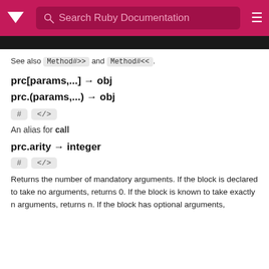Search Ruby Documentation
See also Method#>> and Method#<<.
prc[params,...] → obj
prc.(params,...) → obj
An alias for call
prc.arity → integer
Returns the number of mandatory arguments. If the block is declared to take no arguments, returns 0. If the block is known to take exactly n arguments, returns n. If the block has optional arguments,